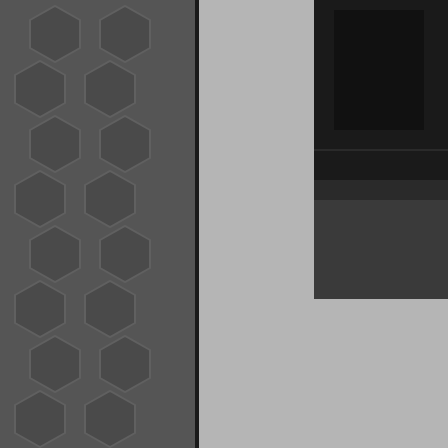[Figure (screenshot): Dark/black photo visible in top right corner of the page, appears to be a window or interior shot]
[last edit 1/30/2012 5:31 PM by cr400 - edited
You can see a million miles tonite, but you can't get o
Honorary member of UER lifetime acheivement awa
decrepitude
[Figure (illustration): User badge icons: green star with 12, globe, trophy, and a small car/vehicle icon]
Location: Norcal
Gender: Male
Total Likes: 141 likes
[Figure (photo): Profile avatar photo showing a mountain/rocky landscape with sky]
Re: Pacific Southwest photo a day
< Reply # 573 on 1/30/2012 6:17 P
Reply with Quote
Posted by cr400
Your pics make me think of som
Forgot to add my pic.
1.
[Figure (photo): Photo showing a grid/window structure, partially visible at bottom of page]